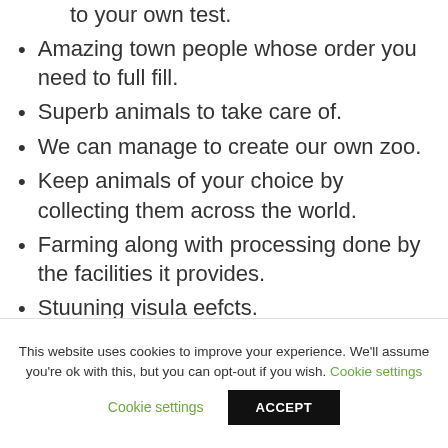Build a town of your wish and describe describing to your own test.
Amazing town people whose order you need to full fill.
Superb animals to take care of.
We can manage to create our own zoo.
Keep animals of your choice by collecting them across the world.
Farming along with processing done by the facilities it provides.
Stuuning visula eefcts.
Dynamic animals and people.
This website uses cookies to improve your experience. We'll assume you're ok with this, but you can opt-out if you wish. Cookie settings ACCEPT